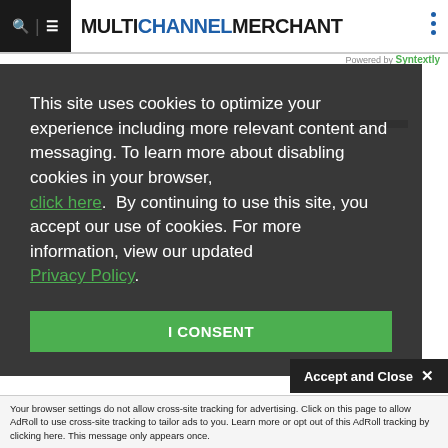MULTICHANNEL MERCHANT
Powered by Syntextly
This site uses cookies to optimize your experience including more relevant content and messaging. To learn more about disabling cookies in your browser, click here. By continuing to use this site, you accept our use of cookies. For more information, view our updated Privacy Policy.
I CONSENT
Accept and Close ✕
Your browser settings do not allow cross-site tracking for advertising. Click on this page to allow AdRoll to use cross-site tracking to tailor ads to you. Learn more or opt out of this AdRoll tracking by clicking here. This message only appears once.